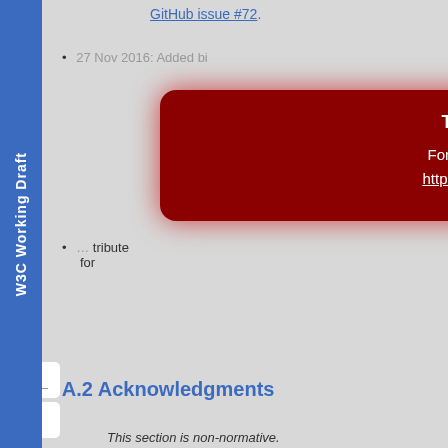GitHub issue #72.
27 Nov 2016: Added ... es for ... ed, and ...
[Figure (screenshot): Red outdated version warning modal with collapse button, stating 'This version is outdated! For the latest version, please look at https://www.w3.org/TR/html-aam-1.0/.']
... tribute ... for ...
A.2 Acknowledgments
This section is non-normative.
The following people contributed to the development of this document.